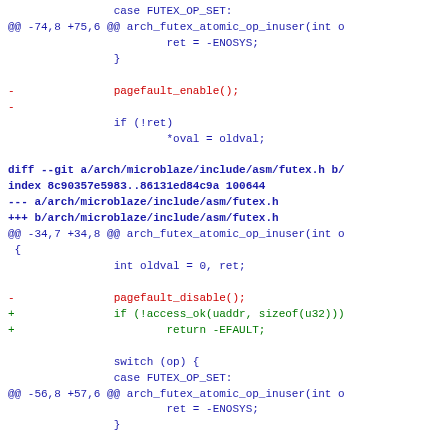[Figure (screenshot): A unified diff / patch output showing changes to arch/microblaze/include/asm/futex.h. Removed lines shown in red, added lines in green, context lines in blue/black, diff headers in bold blue.]